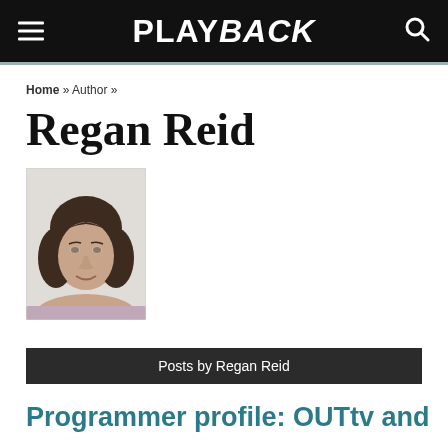PLAYBACK
Home » Author »
Regan Reid
[Figure (photo): Headshot photograph of Regan Reid, a woman with short dark brown hair against a light background]
Posts by Regan Reid
Programmer profile: OUTtv and